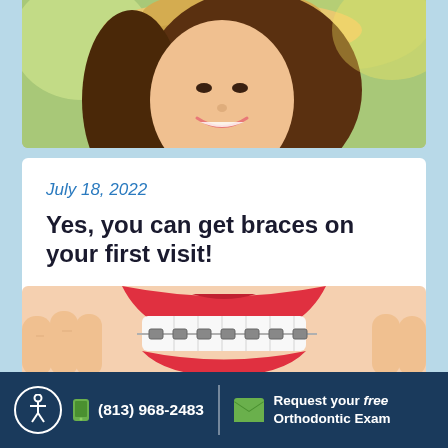[Figure (photo): Smiling woman with long dark hair wearing a straw hat, outdoors in sunlight, touching her chin]
July 18, 2022
Yes, you can get braces on your first visit!
Read More
[Figure (photo): Close-up of a smiling mouth showing white teeth with braces, with fingers on either side]
(813) 968-2483  Request your free Orthodontic Exam